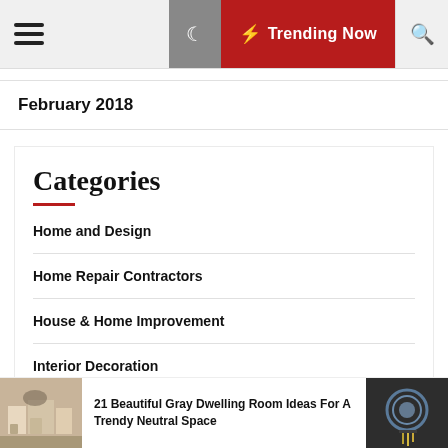Trending Now
February 2018
Categories
Home and Design
Home Repair Contractors
House & Home Improvement
Interior Decoration
21 Beautiful Gray Dwelling Room Ideas For A Trendy Neutral Space